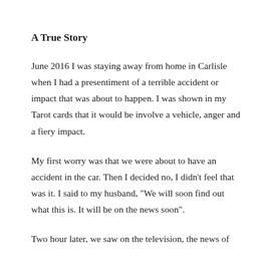A True Story
June 2016 I was staying away from home in Carlisle when I had a presentiment of a terrible accident or impact that was about to happen. I was shown in my Tarot cards that it would be involve a vehicle, anger and a fiery impact.
My first worry was that we were about to have an accident in the car. Then I decided no, I didn’t feel that was it. I said to my husband, “We will soon find out what this is. It will be on the news soon”.
Two hour later, we saw on the television, the news of